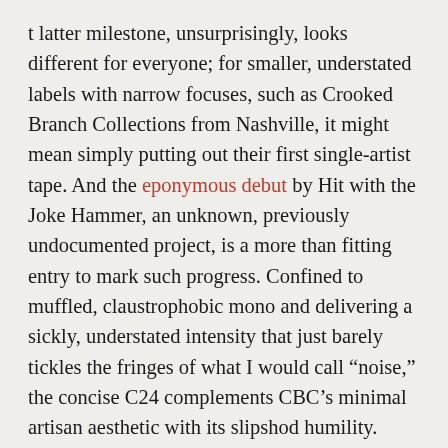t latter milestone, unsurprisingly, looks different for everyone; for smaller, understated labels with narrow focuses, such as Crooked Branch Collections from Nashville, it might mean simply putting out their first single-artist tape. And the eponymous debut by Hit with the Joke Hammer, an unknown, previously undocumented project, is a more than fitting entry to mark such progress. Confined to muffled, claustrophobic mono and delivering a sickly, understated intensity that just barely tickles the fringes of what I would call “noise,” the concise C24 complements CBC’s minimal artisan aesthetic with its slipshod humility. Unidentifiable concrète recordings, which originally could have been anything from trickling water and domestic doldrums to repurposed feedback loops and shortwave fiddles, rake across rusty tape heads with a lethargic, tedious sputter a la UVC (though without the same sense of exteriority). In passing, each of the four short tracks seems to twitch and amble with almost indistinguishable gaits, and it’s only through close attention that the exact character of the specific agitations can be identified—nuance